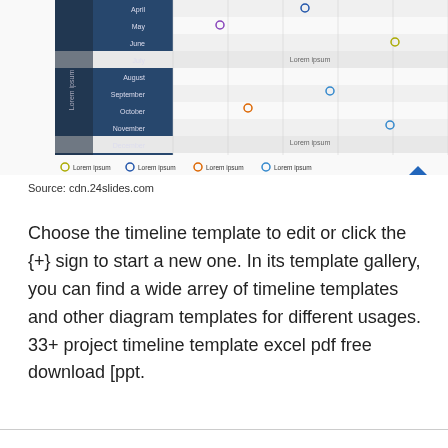[Figure (other): A project timeline scatter-plot style chart with months on the y-axis (April through December) and colored circle markers at various positions, plus a blue diamond shape. Legend shows four 'Lorem ipsum' entries with colored circles. 'Lorem ipsum' text appears on highlighted rows.]
Source: cdn.24slides.com
Choose the timeline template to edit or click the {+} sign to start a new one. In its template gallery, you can find a wide arrey of timeline templates and other diagram templates for different usages. 33+ project timeline template excel pdf free download [ppt.